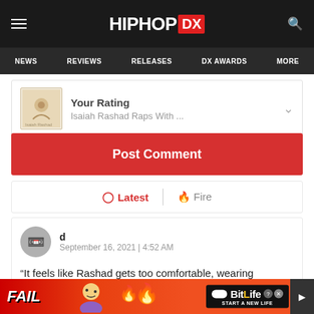HIPHOP DX — NEWS | REVIEWS | RELEASES | DX AWARDS | MORE
Your Rating
Isaiah Rashad Raps With ...
Post Comment
Latest | Fire
d
September 16, 2021 | 4:52 AM
“It feels like Rashad gets too comfortable, wearing influences on his sleeve and a familiar bag of tricks inste... great but a... ring more...